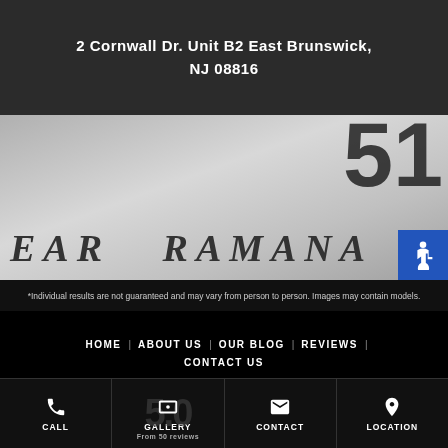[Figure (photo): Black and white photo of a wall/sign with text 'EAR RAMANA' visible, partially cropped, with large dark numerals in top-right corner]
2 Cornwall Dr. Unit B2 East Brunswick, NJ 08816
*Individual results are not guaranteed and may vary from person to person. Images may contain models.
HOME
ABOUT US
OUR BLOG
REVIEWS
CONTACT US